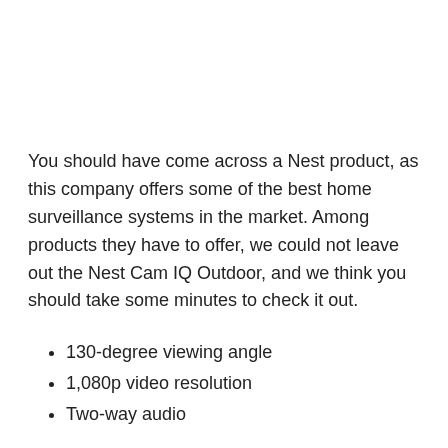You should have come across a Nest product, as this company offers some of the best home surveillance systems in the market. Among products they have to offer, we could not leave out the Nest Cam IQ Outdoor, and we think you should take some minutes to check it out.
130-degree viewing angle
1,080p video resolution
Two-way audio
Price: $399.00